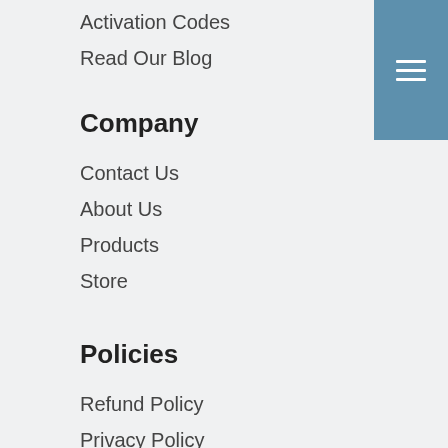Activation Codes
Read Our Blog
Company
Contact Us
About Us
Products
Store
Policies
Refund Policy
Privacy Policy
Cookie Policy
Terms & Conditions
Trademarks